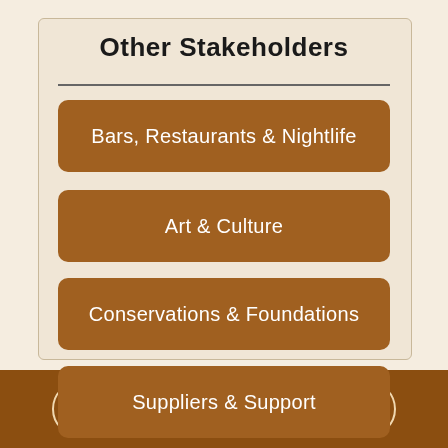Other Stakeholders
Bars, Restaurants & Nightlife
Art & Culture
Conservations & Foundations
Suppliers & Support
Travel Operators